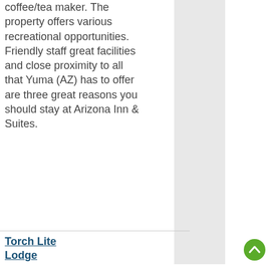coffee/tea maker. The property offers various recreational opportunities. Friendly staff great facilities and close proximity to all that Yuma (AZ) has to offer are three great reasons you should stay at Arizona Inn & Suites.
Torch Lite Lodge